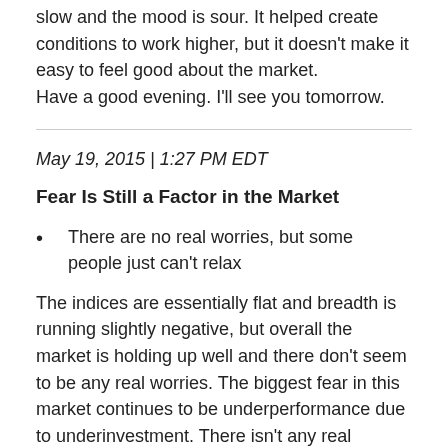slow and the mood is sour. It helped create conditions to work higher, but it doesn't make it easy to feel good about the market.
Have a good evening. I'll see you tomorrow.
May 19, 2015 | 1:27 PM EDT
Fear Is Still a Factor in the Market
There are no real worries, but some people just can't relax
The indices are essentially flat and breadth is running slightly negative, but overall the market is holding up well and there don't seem to be any real worries. The biggest fear in this market continues to be underperformance due to underinvestment.  There isn't any real concern about being caught in a sudden reversal, which is logical since